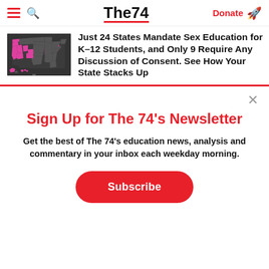The74 — Donate
Just 24 States Mandate Sex Education for K–12 Students, and Only 9 Require Any Discussion of Consent. See How Your State Stacks Up
[Figure (map): US map with states highlighted in pink/magenta indicating states that mandate sex education, and dark/grey states that do not.]
Sign Up for The 74's Newsletter
Get the best of The 74's education news, analysis and commentary in your inbox each weekday morning.
Subscribe